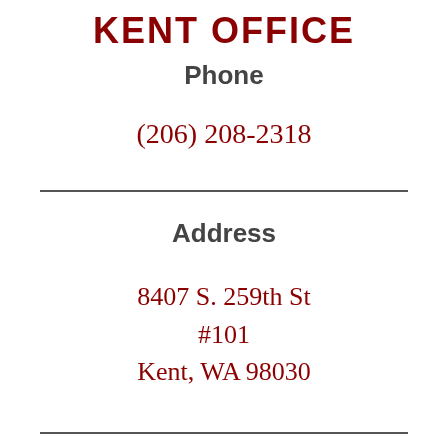KENT OFFICE
Phone
(206) 208-2318
Address
8407 S. 259th St #101 Kent, WA 98030